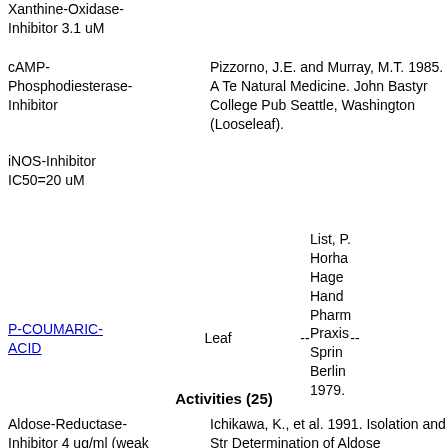Xanthine-Oxidase-Inhibitor 3.1 uM
cAMP-Phosphodiesterase-Inhibitor
Pizzorno, J.E. and Murray, M.T. 1985. A Te Natural Medicine. John Bastyr College Pub Seattle, Washington (Looseleaf).
iNOS-Inhibitor IC50=20 uM
List, P. Horha Hage Hand Pharm Praxis Sprin Berlin 1979.
P-COUMARIC-ACID   Leaf   --   --
Activities (25)
Aldose-Reductase-Inhibitor 4 ug/ml (weak activity)
Ichikawa, K., et al. 1991. Isolation and Str Determination of Aldose Reductase Inhibi Traditional Thai Medicine, and Syntheses Derivatives. Sankyo Kenkyusho Nempo, 4
Allelopathic
Jeffery B. Harborne and H. Baxter, eds. 19 Phytochemical Dictionary. A Handbook of Compounds from Plants. Taylor & Frost,